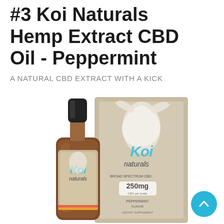#3 Koi Naturals Hemp Extract CBD Oil - Peppermint
A NATURAL CBD EXTRACT WITH A KICK
[Figure (photo): Product photo showing a Koi Naturals CBD oil dropper bottle (brown glass, black dropper cap) with the Koi Naturals branded box behind it. The label reads 'Koi naturals' with the Koi fish logo and '250mg CBD per bottle, Peppermint Flavor'. A cyan circular back-to-top button with an up chevron is in the bottom-right corner.]